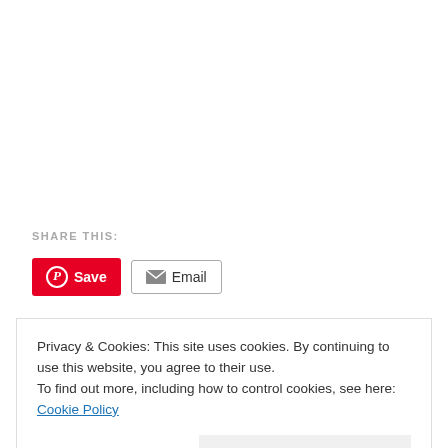SHARE THIS:
[Figure (other): Pinterest Save button (red) and Email button (grey outlined) for sharing]
Privacy & Cookies: This site uses cookies. By continuing to use this website, you agree to their use.
To find out more, including how to control cookies, see here: Cookie Policy
Close and accept